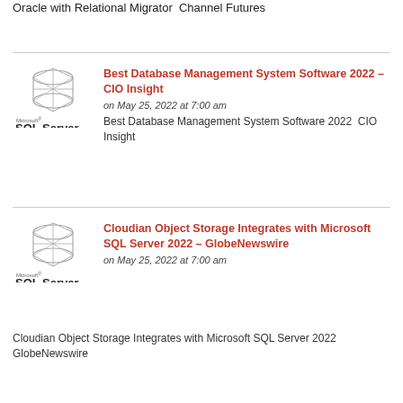Oracle with Relational Migrator  Channel Futures
[Figure (logo): Microsoft SQL Server logo]
Best Database Management System Software 2022 – CIO Insight
on May 25, 2022 at 7:00 am
Best Database Management System Software 2022  CIO Insight
[Figure (logo): Microsoft SQL Server logo]
Cloudian Object Storage Integrates with Microsoft SQL Server 2022 – GlobeNewswire
on May 25, 2022 at 7:00 am
Cloudian Object Storage Integrates with Microsoft SQL Server 2022  GlobeNewswire